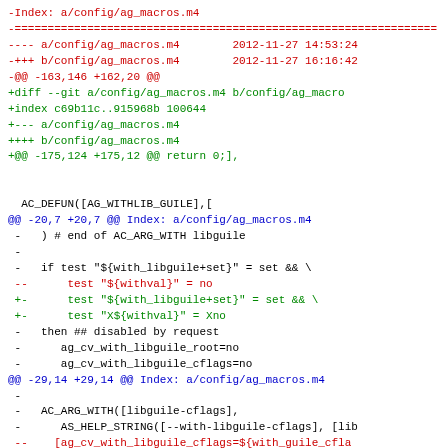Diff/patch code view showing changes to a/config/ag_macros.m4 file with red (removed), green (added), and blue (context) lines in unified diff format.